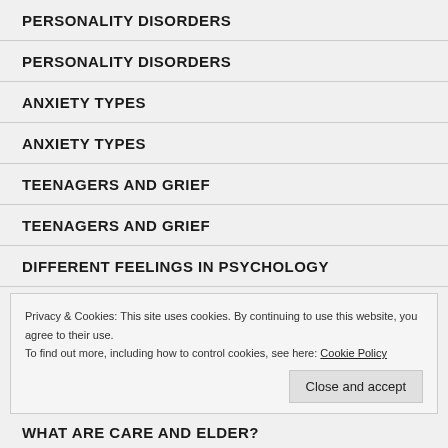PERSONALITY DISORDERS
PERSONALITY DISORDERS
ANXIETY TYPES
ANXIETY TYPES
TEENAGERS AND GRIEF
TEENAGERS AND GRIEF
DIFFERENT FEELINGS IN PSYCHOLOGY
Privacy & Cookies: This site uses cookies. By continuing to use this website, you agree to their use.
To find out more, including how to control cookies, see here: Cookie Policy
Close and accept
WHAT ARE CARE AND ELDER?